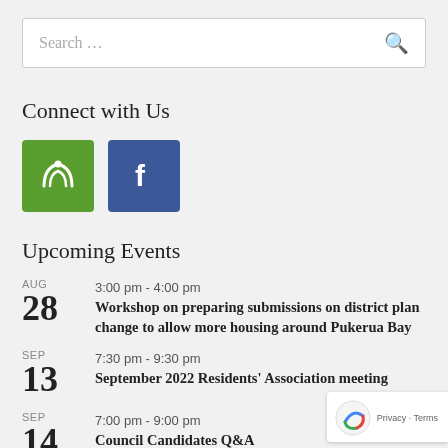[Figure (screenshot): Search bar with placeholder text 'Search ...' and a search icon on the right]
Connect with Us
[Figure (infographic): Two social media icons: a green Neighbourly icon and a blue Facebook icon]
Upcoming Events
AUG 28 | 3:00 pm - 4:00 pm | Workshop on preparing submissions on district plan change to allow more housing around Pukerua Bay
SEP 13 | 7:30 pm - 9:30 pm | September 2022 Residents' Association meeting
SEP 14 | 7:00 pm - 9:00 pm | Council Candidates Q&A